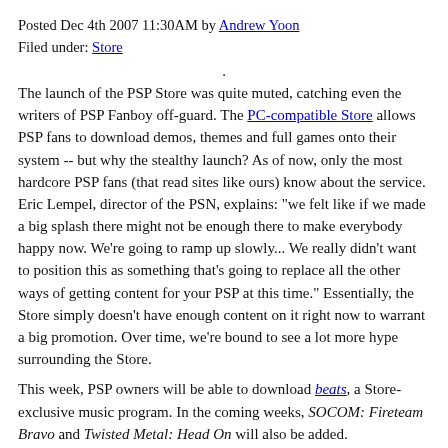Posted Dec 4th 2007 11:30AM by Andrew Yoon
Filed under: Store
.
The launch of the PSP Store was quite muted, catching even the writers of PSP Fanboy off-guard. The PC-compatible Store allows PSP fans to download demos, themes and full games onto their system -- but why the stealthy launch? As of now, only the most hardcore PSP fans (that read sites like ours) know about the service. Eric Lempel, director of the PSN, explains: "we felt like if we made a big splash there might not be enough there to make everybody happy now. We're going to ramp up slowly... We really didn't want to position this as something that's going to replace all the other ways of getting content for your PSP at this time." Essentially, the Store simply doesn't have enough content on it right now to warrant a big promotion. Over time, we're bound to see a lot more hype surrounding the Store.
This week, PSP owners will be able to download beats, a Store-exclusive music program. In the coming weeks, SOCOM: Fireteam Bravo and Twisted Metal: Head On will also be added. Interestingly, Lempel also talks about fl0w and Everyday Shooter as examples of games that would be perfect for PSP. We'd agree. Finally, for those that have been voicing their concerns -- a Mac